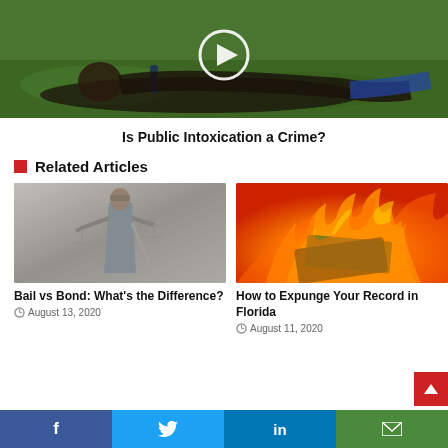[Figure (photo): Person lying on grass with a bottle, with a video play button overlay]
Is Public Intoxication a Crime?
Related Articles
[Figure (photo): Statue of Lady Justice holding scales]
Bail vs Bond: What's the Difference?
August 13, 2020
[Figure (photo): Money burning in flames]
How to Expunge Your Record in Florida
August 11, 2020
Social share bar: Facebook, Twitter, LinkedIn, Email